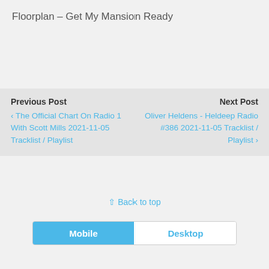Floorplan – Get My Mansion Ready
Previous Post
‹ The Official Chart On Radio 1 With Scott Mills 2021-11-05 Tracklist / Playlist
Next Post
Oliver Heldens - Heldeep Radio #386 2021-11-05 Tracklist / Playlist ›
⇧ Back to top
Mobile   Desktop